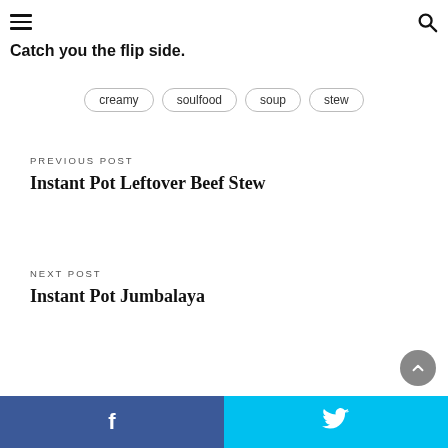Catch you the flip side.
creamy
soulfood
soup
stew
PREVIOUS POST
Instant Pot Leftover Beef Stew
NEXT POST
Instant Pot Jumbalaya
f  Twitter